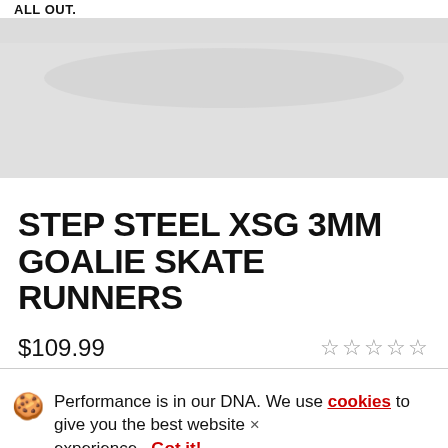ALL OUT.
[Figure (photo): Hero/banner image area with gray gradient background, product image area]
STEP STEEL XSG 3MM GOALIE SKATE RUNNERS
$109.99  ☆☆☆☆☆
Performance is in our DNA. We use cookies to give you the best website experience. Got it!